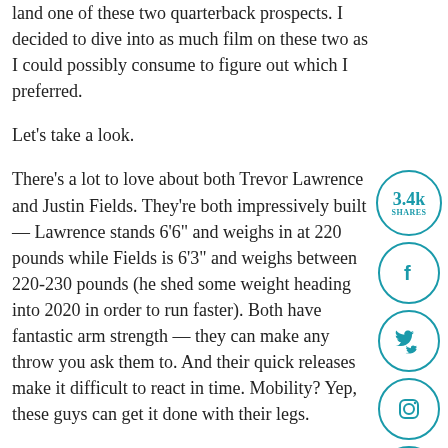land one of these two quarterback prospects. I decided to dive into as much film on these two as I could possibly consume to figure out which I preferred.
Let's take a look.
There's a lot to love about both Trevor Lawrence and Justin Fields. They're both impressively built — Lawrence stands 6'6" and weighs in at 220 pounds while Fields is 6'3" and weighs between 220-230 pounds (he shed some weight heading into 2020 in order to run faster). Both have fantastic arm strength — they can make any throw you ask them to. And their quick releases make it difficult to react in time. Mobility? Yep, these guys can get it done with their legs.
Their statistical output has been astounding. Lawrence has started 37 games, completed 66.7% of his passes for 9,181 yards with 85 touchdowns and 14 interceptions. He's also added 820 yards on the ground with 14 rushing touchdowns. Fields has shown the st...